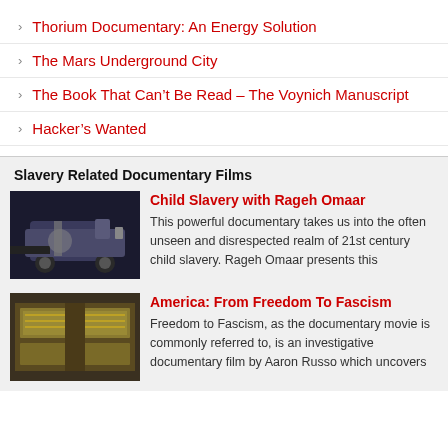Thorium Documentary: An Energy Solution
The Mars Underground City
The Book That Can't Be Read – The Voynich Manuscript
Hacker's Wanted
Slavery Related Documentary Films
[Figure (photo): Thumbnail image of a car and person at night for Child Slavery documentary]
Child Slavery with Rageh Omaar
This powerful documentary takes us into the often unseen and disrespected realm of 21st century child slavery. Rageh Omaar presents this
[Figure (photo): Thumbnail image of money/cash for America: From Freedom To Fascism documentary]
America: From Freedom To Fascism
Freedom to Fascism, as the documentary movie is commonly referred to, is an investigative documentary film by Aaron Russo which uncovers